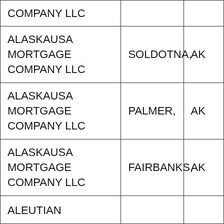| COMPANY LLC |  |  |
| ALASKAUSA MORTGAGE COMPANY LLC | SOLDOTNA, | AK |
| ALASKAUSA MORTGAGE COMPANY LLC | PALMER, | AK |
| ALASKAUSA MORTGAGE COMPANY LLC | FAIRBANKS, | AK |
| ALEUTIAN |  |  |